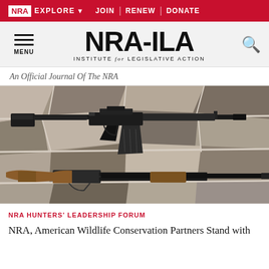NRA EXPLORE  JOIN | RENEW | DONATE
[Figure (logo): NRA-ILA logo with hamburger menu icon on left, search icon on right. Tagline: INSTITUTE for LEGISLATIVE ACTION]
An Official Journal Of The NRA
[Figure (photo): Photo of two firearms on a stone surface: an AR-15 style semi-automatic rifle (black) on top, and a wooden-stocked shotgun on the bottom.]
NRA HUNTERS' LEADERSHIP FORUM
NRA, American Wildlife Conservation Partners Stand with